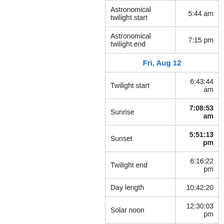| Event | Time |
| --- | --- |
| Astronomical twilight start | 5:44 am |
| Astronomical twilight end | 7:15 pm |
| Fri, Aug 12 |  |
| Twilight start | 6:43:44 am |
| Sunrise | 7:08:53 am |
| Sunset | 5:51:13 pm |
| Twilight end | 6:16:22 pm |
| Day length | 10:42:20 |
| Solar noon | 12:30:03 pm |
| Nautical twilight start | 6:13 am |